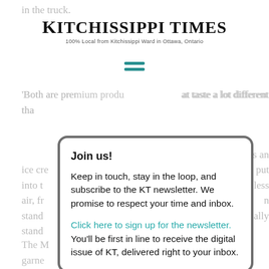Kitchissippi Times — 100% Local from Kitchissippi Ward in Ottawa, Ontario
[Figure (other): Hamburger menu icon with two teal horizontal lines]
'Both are premium products that taste a lot different than... is an ice cream... is put into th... less air, fr... n stand... ally stand...
Join us!

Keep in touch, stay in the loop, and subscribe to the KT newsletter. We promise to respect your time and inbox.

Click here to sign up for the newsletter. You'll be first in line to receive the digital issue of KT, delivered right to your inbox.
The M... garne... truck... 'uck' app helps eager customers chase her down on hot summer evenings. The new Merry Dairy location will feature the same retro, cheerful look that makes the